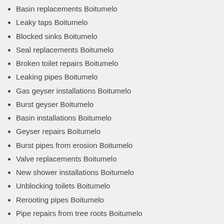Basin replacements Boitumelo
Leaky taps Boitumelo
Blocked sinks Boitumelo
Seal replacements Boitumelo
Broken toilet repairs Boitumelo
Leaking pipes Boitumelo
Gas geyser installations Boitumelo
Burst geyser Boitumelo
Basin installations Boitumelo
Geyser repairs Boitumelo
Burst pipes from erosion Boitumelo
Valve replacements Boitumelo
New shower installations Boitumelo
Unblocking toilets Boitumelo
Rerooting pipes Boitumelo
Pipe repairs from tree roots Boitumelo
Leak detection Boitumelo
New elements in geyser Boitumelo
Geyser installations Boitumelo
Leaking toilet repairs Boitumelo
Leaking taps Boitumelo
Basin repairs Boitumelo
Appliance installations Boitumelo
Unblocking toilets Boitumelo
Blocked baths Boitumelo
Gas geyser repairs Boitumelo
Flooding toilet repairs Boitumelo